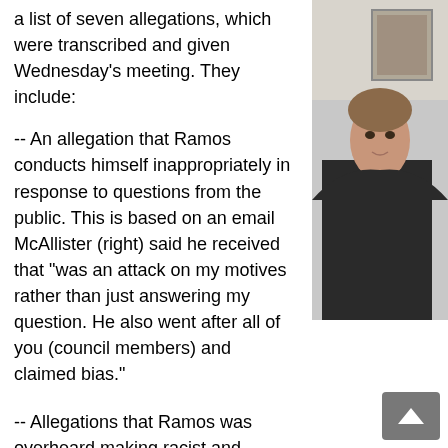a list of seven allegations, which were transcribed and given Wednesday's meeting. They include:
-- An allegation that Ramos conducts himself inappropriately in response to questions from the public. This is based on an email McAllister (right) said he received that "was an attack on my motives rather than just answering my question. He also went after all of you (council members) and claimed bias."
-- Allegations that Ramos was overheard making racist and derogatory comments about commission applicants after their interviews.
-- Accusations that Ramos inappropriately engages with staff members and has been seen going through their d...
-- Allegations that Ramos reports no income on a governmen...
[Figure (photo): Photo of a person (McAllister) on the right side of the page, partially cropped]